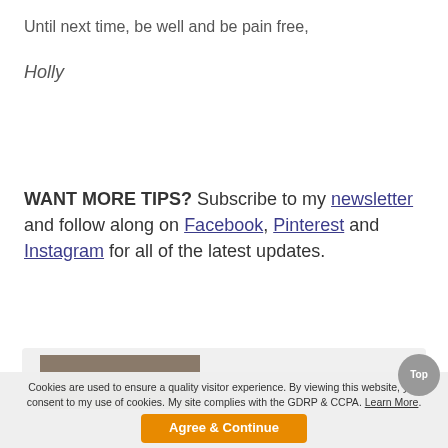Until next time, be well and be pain free,
Holly
WANT MORE TIPS? Subscribe to my newsletter and follow along on Facebook, Pinterest and Instagram for all of the latest updates.
[Figure (photo): Partial view of a card with a photo thumbnail]
Cookies are used to ensure a quality visitor experience. By viewing this website, you consent to my use of cookies. My site complies with the GDRP & CCPA. Learn More.
Agree & Continue